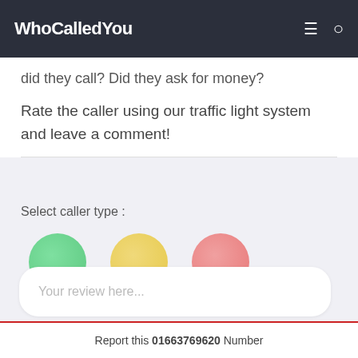WhoCalledYou
did they call? Did they ask for money?
Rate the caller using our traffic light system and leave a comment!
Select caller type :
[Figure (infographic): Three colored circles representing caller types: Positive (green), Natural (yellow), Negative (red/pink)]
Your review here...
Report this 01663769620 Number